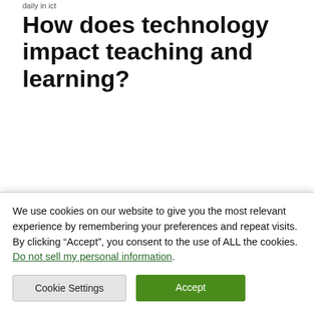daily in ict
How does technology impact teaching and learning?
Technology helps students to research subjects, share ideas and learn specific skills. Technology allows for such flexibility in learning that it is enabling students to...
We use cookies on our website to give you the most relevant experience by remembering your preferences and repeat visits. By clicking “Accept”, you consent to the use of ALL the cookies.
Do not sell my personal information.
Cookie Settings  Accept